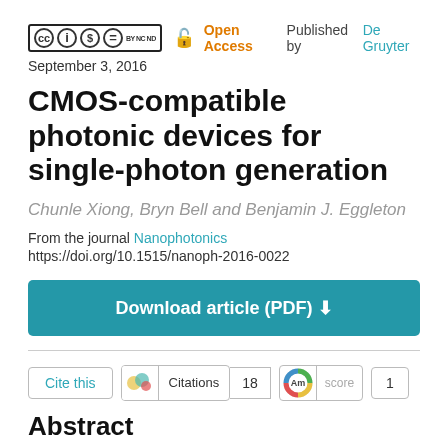[Figure (logo): Creative Commons license icons (CC BY NC ND) followed by open lock icon, Open Access text in orange, 'Published by' in black, 'De Gruyter' in teal]
September 3, 2016
CMOS-compatible photonic devices for single-photon generation
Chunle Xiong, Bryn Bell and Benjamin J. Eggleton
From the journal Nanophotonics
https://doi.org/10.1515/nanoph-2016-0022
[Figure (other): Download article (PDF) button with download arrow icon]
[Figure (other): Action row with Cite this button, Citations badge showing 18, Altmetric score badge showing 1]